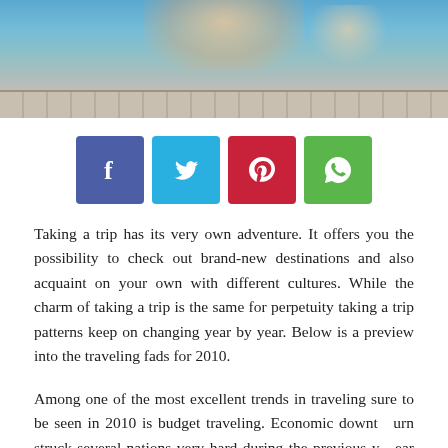[Figure (photo): Top banner photo of a swimming pool or beach scene with a person, warm and blue tones, with a wooden deck/slat surface at the bottom.]
[Figure (infographic): Social sharing buttons row: Facebook (blue-purple), Twitter (light blue), Pinterest (red), WhatsApp (green), each with white icon on square rounded button.]
Taking a trip has its very own adventure. It offers you the possibility to check out brand-new destinations and also acquaint on your own with different cultures. While the charm of taking a trip is the same for perpetuity taking a trip patterns keep on changing year by year. Below is a preview into the traveling fads for 2010.
Among one of the most excellent trends in traveling sure to be seen in 2010 is budget traveling. Economic downturn struck several nations very hard during the previous year and also the influence of the same is still evident. Other than taking